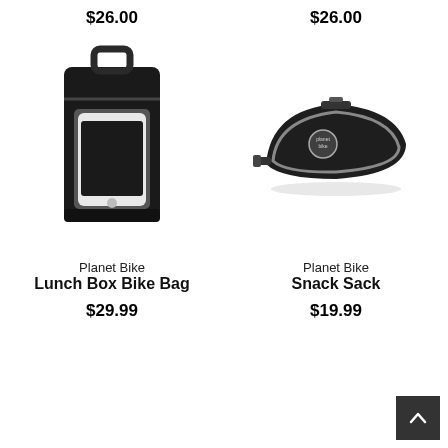$26.00
[Figure (photo): Planet Bike Lunch Box Bike Bag - black bag with phone visible in clear pocket and handle on top]
Planet Bike
Lunch Box Bike Bag
$29.99
$26.00
[Figure (photo): Planet Bike Snack Sack - triangular black bike bag with grey trim and Planet Bike logo]
Planet Bike
Snack Sack
$19.99